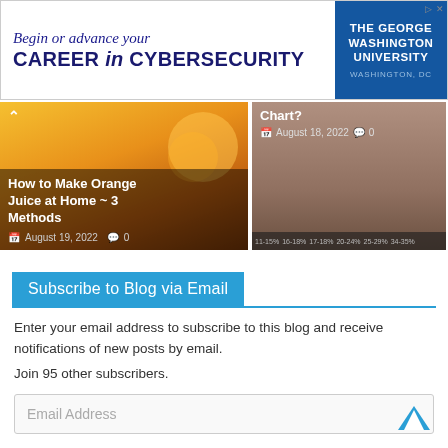[Figure (other): Advertisement banner for The George Washington University Cybersecurity program. Text: 'Begin or advance your CAREER in CYBERSECURITY' with GWU logo on the right.]
[Figure (photo): Article card showing orange juice with oranges. Title: 'How to Make Orange Juice at Home ~ 3 Methods'. Date: August 19, 2022. Comments: 0.]
[Figure (photo): Article card with chart-related image. Partial title visible: 'Chart?'. Date: August 18, 2022. Comments: 0.]
Subscribe to Blog via Email
Enter your email address to subscribe to this blog and receive notifications of new posts by email.
Join 95 other subscribers.